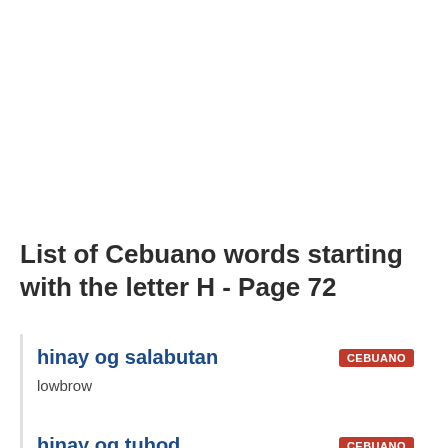List of Cebuano words starting with the letter H - Page 72
hinay og salabutan
lowbrow
hinay og tuhod